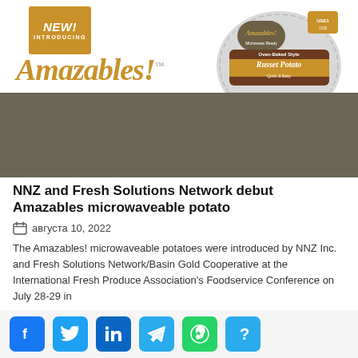[Figure (illustration): Amazables! product banner showing a 'NEW! INTRODUCING' orange badge, the Amazables! brand name in gold italic script, a packaged Oven-Baked Style Russet Potato microwaveable product, and text reading 'The FIRST Microwaved Potato with Real Oven-Baked Results' on a dark olive/brown background.]
NNZ and Fresh Solutions Network debut Amazables microwaveable potato
августа 10, 2022
The Amazables! microwaveable potatoes were introduced by NNZ Inc. and Fresh Solutions Network/Basin Gold Cooperative at the International Fresh Produce Association's Foodservice Conference on July 28-29 in Monterey, California.
[Figure (infographic): Social sharing buttons row: Facebook (blue), Twitter (blue), LinkedIn (dark blue), Telegram (blue), WhatsApp (green), Unknown/Share (blue)]